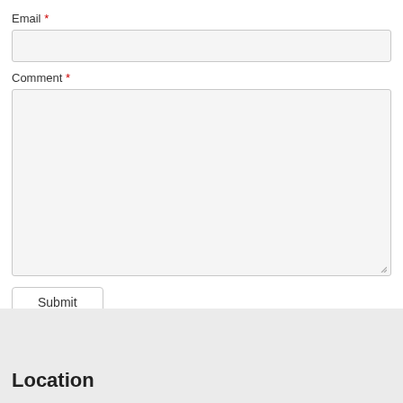Email *
[Figure (screenshot): Empty email input text field with light gray background and border]
Comment *
[Figure (screenshot): Large empty comment textarea with light gray background, border, and resize handle at bottom-right]
[Figure (screenshot): Submit button with white background and border]
Location